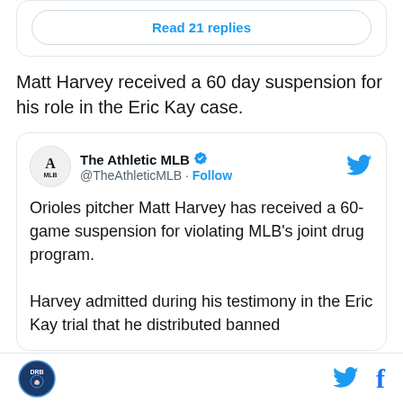Read 21 replies
Matt Harvey received a 60 day suspension for his role in the Eric Kay case.
[Figure (screenshot): Tweet from The Athletic MLB (@TheAthleticMLB) with verified badge and Follow button. Tweet text: 'Orioles pitcher Matt Harvey has received a 60-game suspension for violating MLB's joint drug program. Harvey admitted during his testimony in the Eric Kay trial that he distributed banned']
DRB logo, Twitter icon, Facebook icon